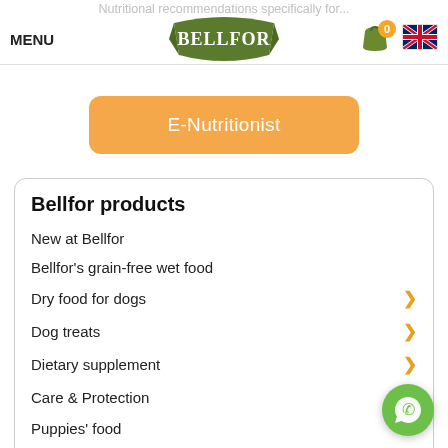Nutritional recommendations specifically for...
[Figure (screenshot): Bellfor website navigation bar with MENU label, search icon (green), Bellfor logo (green banner), cart icon with badge showing 0, and UK flag icon]
[Figure (other): E-Nutritionist button in orange/yellow rounded rectangle]
Bellfor products
New at Bellfor
Bellfor's grain-free wet food
Dry food for dogs
Dog treats
Dietary supplement
Care & Protection
Puppies' food
Hypoallergenic dog food
Active dogs